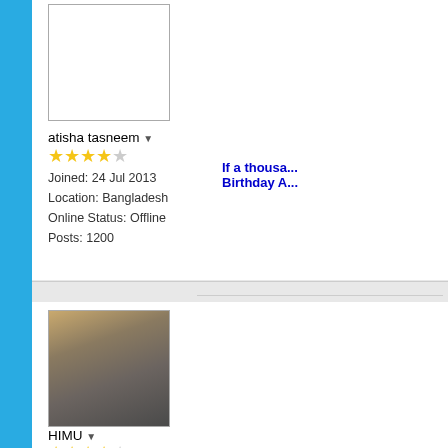[Figure (photo): Empty white avatar placeholder box for user atisha tasneem]
atisha tasneem ▼
★★★★☆ (4 stars out of 5)
Joined: 24 Jul 2013
Location: Bangladesh
Online Status: Offline
Posts: 1200
If a thousa... Birthday A...
Posted:
allah hu is
[Figure (photo): Avatar photo of user HIMU, showing a man's face in close-up]
HIMU ▼
★★★★☆ (4 stars out of 5)
Joined: 26 Aug 2012
Location: Pantnagar
Online Status: Offline